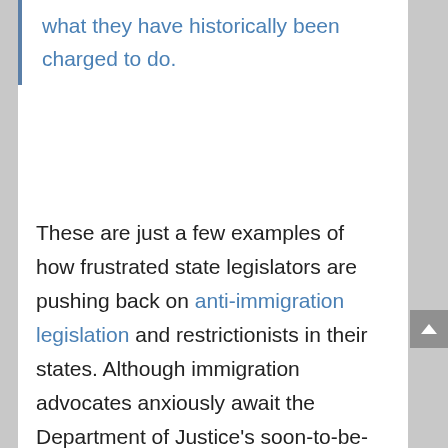what they have historically been charged to do.
These are just a few examples of how frustrated state legislators are pushing back on anti-immigration legislation and restrictionists in their states. Although immigration advocates anxiously await the Department of Justice's soon-to-be-filed federal lawsuit against SB1070, anti-immigration measures in other states unfortunately show no sign of slowing. On...